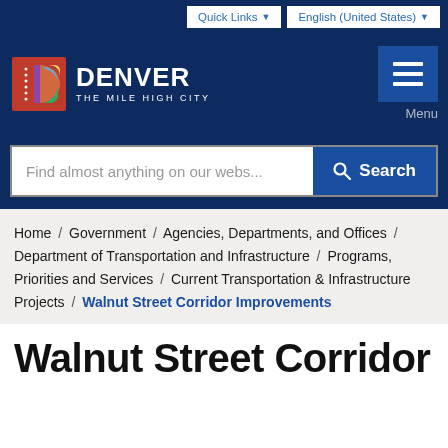Quick Links ▾   English (United States) ▾
[Figure (logo): Denver The Mile High City logo with colorful D icon and white text on dark blue background, with hamburger Menu button on right]
Find almost anything on our webs...   Search
Home / Government / Agencies, Departments, and Offices / Department of Transportation and Infrastructure / Programs, Priorities and Services / Current Transportation & Infrastructure Projects / Walnut Street Corridor Improvements
Walnut Street Corridor